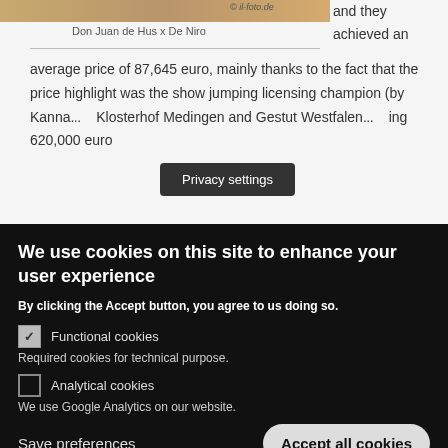[Figure (photo): Horse photo with watermark '© il-foto.de']
Don Juan de Hus x De Niro
and they achieved an average price of 87,645 euro, mainly thanks to the fact that the price highlight was the show jumping licensing champion (by Kanna... Klosterhof Medingen and Gestut Westfalen... ing 620,000 euro
[Figure (screenshot): Privacy settings tooltip overlay]
We use cookies on this site to enhance your user experience
By clicking the Accept button, you agree to us doing so.
Functional cookies
Required cookies for technical purpose.
Analytical cookies
We use Google Analytics on our website.
Save preferences
Accept all cookies